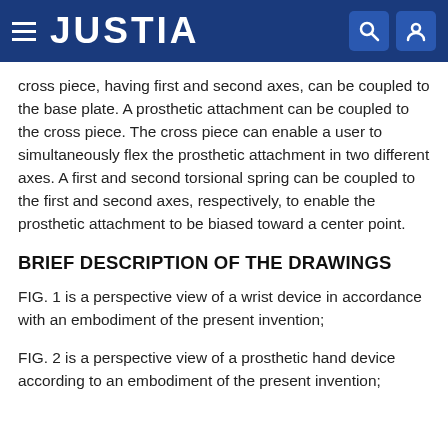JUSTIA
cross piece, having first and second axes, can be coupled to the base plate. A prosthetic attachment can be coupled to the cross piece. The cross piece can enable a user to simultaneously flex the prosthetic attachment in two different axes. A first and second torsional spring can be coupled to the first and second axes, respectively, to enable the prosthetic attachment to be biased toward a center point.
BRIEF DESCRIPTION OF THE DRAWINGS
FIG. 1 is a perspective view of a wrist device in accordance with an embodiment of the present invention;
FIG. 2 is a perspective view of a prosthetic hand device according to an embodiment of the present invention;